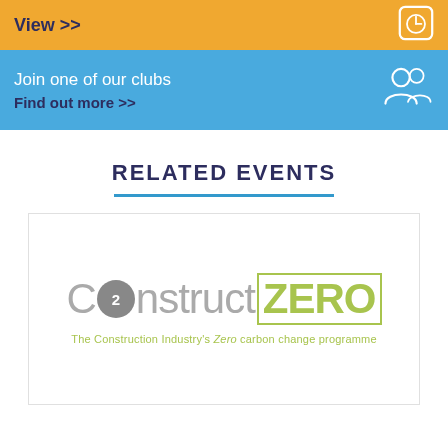View >>
Join one of our clubs
Find out more >>
RELATED EVENTS
[Figure (logo): ConstructZERO logo — The Construction Industry's Zero carbon change programme]